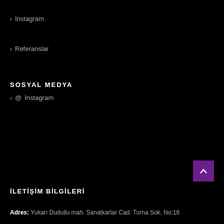> İnstagram
> Referanslar
SOSYAL MEDYA
> @İnstagram
İLETİŞİM BİLGİLERİ
Adres: Yukarı Dudullu mah. Sanatkarlar Cad. Turna Sok. No:16